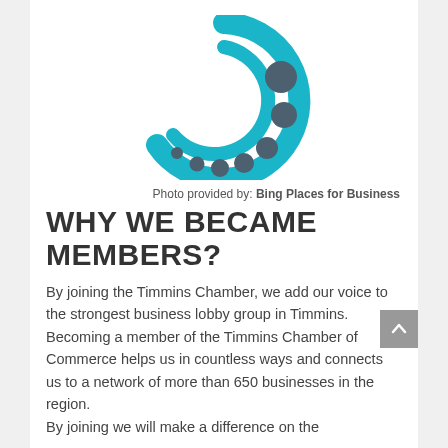[Figure (logo): Timmins Chamber of Commerce logo: a teal/cyan C-shape arc with concentric inner arc and gray dots arranged in a circular pattern]
Photo provided by: Bing Places for Business
WHY WE BECAME MEMBERS?
By joining the Timmins Chamber, we add our voice to the strongest business lobby group in Timmins. Becoming a member of the Timmins Chamber of Commerce helps us in countless ways and connects us to a network of more than 650 businesses in the region. By joining we will make a difference on the